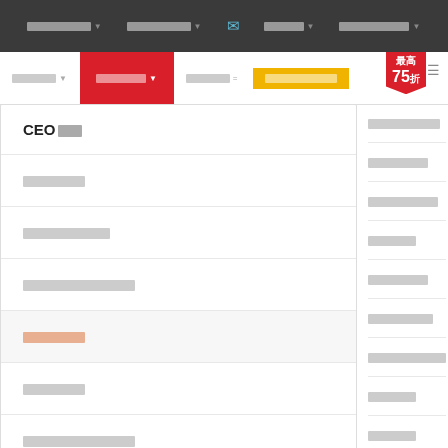Nav bar with dropdown items (obscured text)
Second nav row with active and gold items
CEO■■
■■■■
■■■■■■
■■■■■■■■
■■■■ (highlighted)
■■■■
■■■■■■■■
■■■■■■ (right sidebar)
■■■■■ (right sidebar)
■■■■■■ (right sidebar)
■■■■ (right sidebar)
■■■■■■ (right sidebar)
■■■■■■ (right sidebar)
■■■■■■■■■■ (right sidebar)
■■■■ (right sidebar)
■■■■ (right sidebar)
ISO/IEC 27001:2013 資訊安全管理系統
ISO 9001:2015